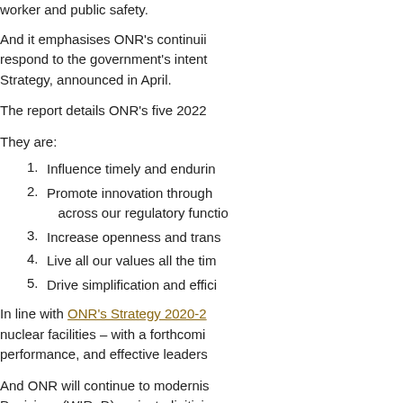worker and public safety.
And it emphasises ONR's continuing commitment to respond to the government's intent... Strategy, announced in April.
The report details ONR's five 2022...
They are:
1. Influence timely and enduring...
2. Promote innovation through ... across our regulatory functio...
3. Increase openness and trans...
4. Live all our values all the tim...
5. Drive simplification and effici...
In line with ONR's Strategy 2020-2... nuclear facilities – with a forthcomi... performance, and effective leaders...
And ONR will continue to modernis... Decisions (WIReD) project, digitisi...